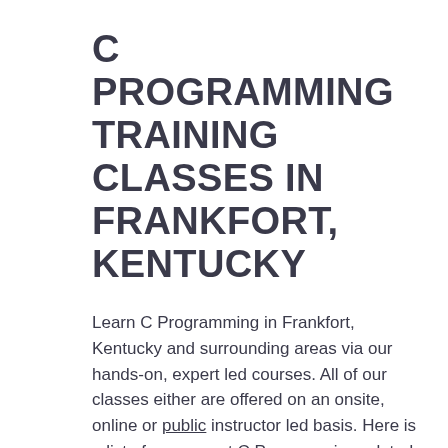C PROGRAMMING TRAINING CLASSES IN FRANKFORT, KENTUCKY
Learn C Programming in Frankfort, Kentucky and surrounding areas via our hands-on, expert led courses. All of our classes either are offered on an onsite, online or public instructor led basis. Here is a list of our current C Programming related training offerings in Frankfort, Kentucky: C Programming